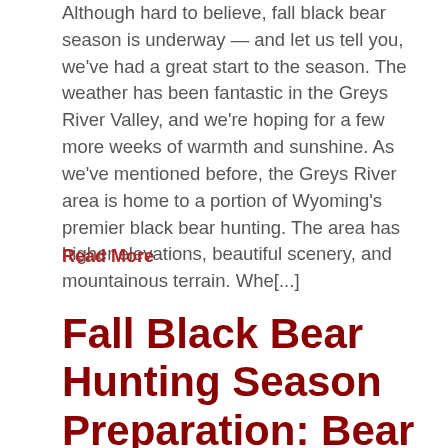Although hard to believe, fall black bear season is underway — and let us tell you, we've had a great start to the season. The weather has been fantastic in the Greys River Valley, and we're hoping for a few more weeks of warmth and sunshine. As we've mentioned before, the Greys River area is home to a portion of Wyoming's premier black bear hunting. The area has higher elevations, beautiful scenery, and mountainous terrain. Whe[...]
Read More
Fall Black Bear Hunting Season Preparation: Bear Baiting